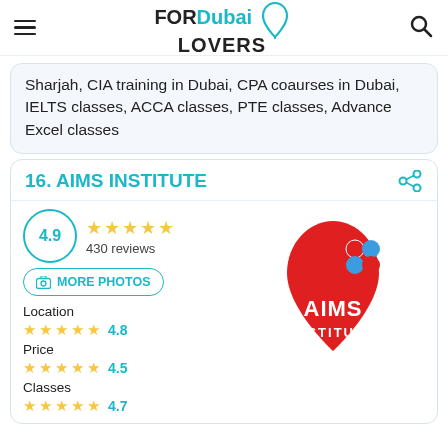FORDubai LOVERS
Sharjah, CIA training in Dubai, CPA coaurses in Dubai, IELTS classes, ACCA classes, PTE classes, Advance Excel classes
16. AIMS INSTITUTE
4.9 ★★★★★ 430 reviews
Location ★★★★★ 4.8
Price ★★★★★ 4.5
Classes
[Figure (logo): AIMS Institute logo - red droplet shape with colorful dots and white text reading AIMS INSTITUTE]